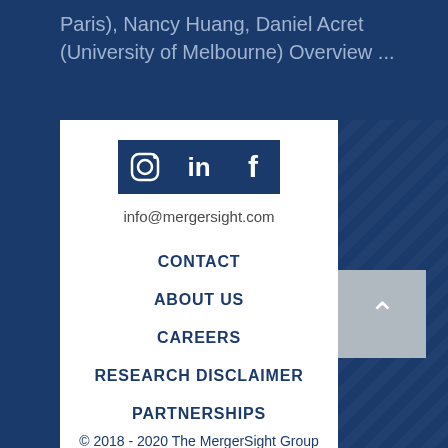Paris), Nancy Huang, Daniel Acret (University of Melbourne) Overview ...
[Figure (logo): Three social media icons side by side: Instagram (camera icon), LinkedIn (in), Facebook (f), all on dark blue background]
info@mergersight.com
CONTACT
ABOUT US
CAREERS
RESEARCH DISCLAIMER
PARTNERSHIPS
© 2018 - 2020 The MergerSight Group